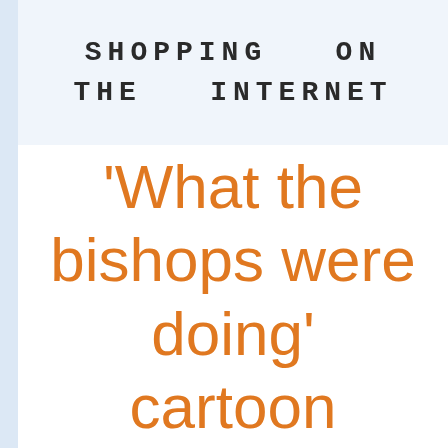Shopping on the Internet
'What the bishops were doing' cartoon